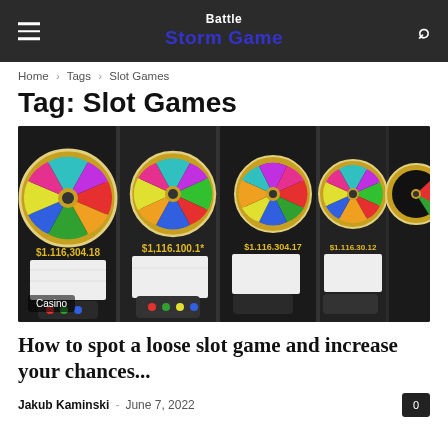Battle Storm Game
Home › Tags › Slot Games
Tag: Slot Games
[Figure (photo): Row of colorful slot machines with spinning wheel displays showing $1,116,304.18, with Casino badge overlay]
How to spot a loose slot game and increase your chances...
Jakub Kaminski - June 7, 2022